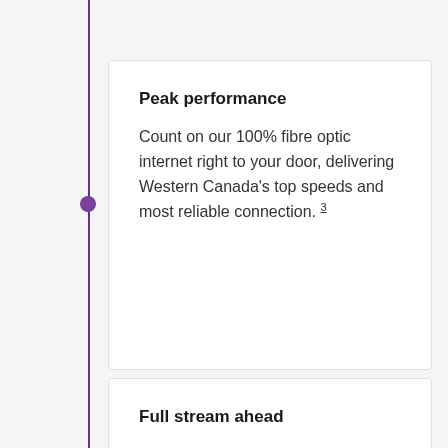Peak performance
Count on our 100% fibre optic internet right to your door, delivering Western Canada's top speeds and most reliable connection. 3
Full stream ahead
Gather the household together on the couch and binge watch away.